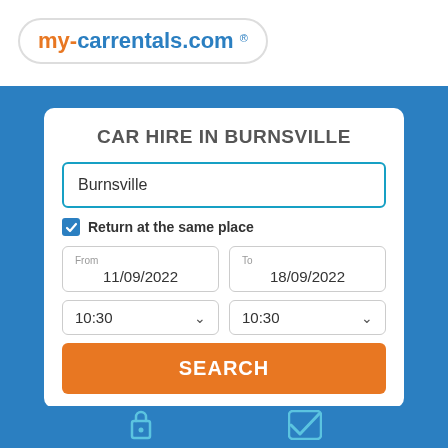[Figure (logo): my-carrentals.com logo with registered trademark symbol in a rounded pill border]
CAR HIRE IN BURNSVILLE
Burnsville
Return at the same place
From 11/09/2022
To 18/09/2022
10:30
10:30
SEARCH